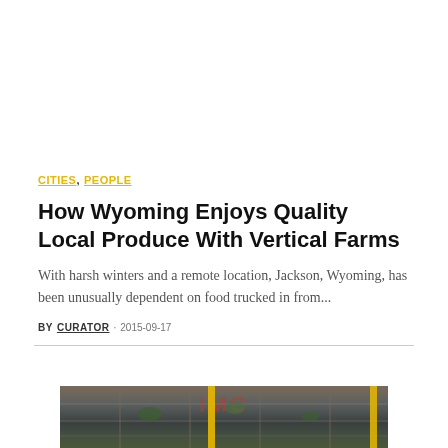CITIES, PEOPLE
How Wyoming Enjoys Quality Local Produce With Vertical Farms
With harsh winters and a remote location, Jackson, Wyoming, has been unusually dependent on food trucked in from...
BY CURATOR · 2015-09-17
[Figure (photo): Indoor vertical farm with scaffolding, plants, and yellow structures visible]